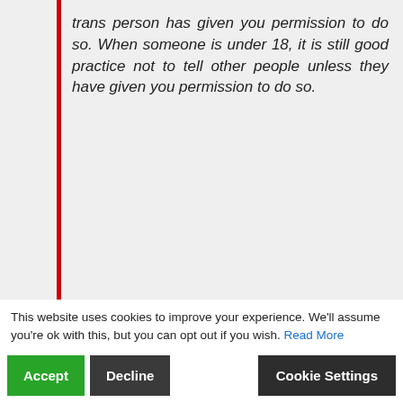trans person has given you permission to do so. When someone is under 18, it is still good practice not to tell other people unless they have given you permission to do so.
It is not a requirement – or best practice – to tell parents that a trans person will be attending a residential event.
This website uses cookies to improve your experience. We'll assume you're ok with this, but you can opt out if you wish. Read More
This guidance has been confirmed in writing to a concerned parent. Girlguiding say it will not disclose now or in the future if a trans child is